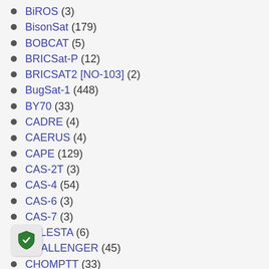BiROS (3)
BisonSat (179)
BOBCAT (5)
BRICSat-P (12)
BRICSAT2 [NO-103] (2)
BugSat-1 (448)
BY70 (33)
CADRE (4)
CAERUS (4)
CAPE (129)
CAS-2T (3)
CAS-4 (54)
CAS-6 (3)
CAS-7 (3)
CELESTA (6)
CHALLENGER (45)
CHOMPTT (33)
ChubuSat (16)
Columbia (47)
COMPASS-1 (1,381)
CP-4 (18)
CP-5 (23)